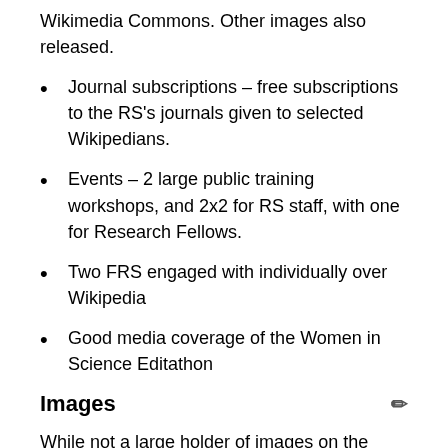Wikimedia Commons. Other images also released.
Journal subscriptions – free subscriptions to the RS's journals given to selected Wikipedians.
Events – 2 large public training workshops, and 2x2 for RS staff, with one for Research Fellows.
Two FRS engaged with individually over Wikipedia
Good media coverage of the Women in Science Editathon
Images
While not a large holder of images on the scale of a museum, the Royal Society has a range of images of potential use, and one aspect of the role was to explore which could be released on open licenses. The RS had recently stepped up its commercial Picture Library licensing, after a considerable programme of digitization